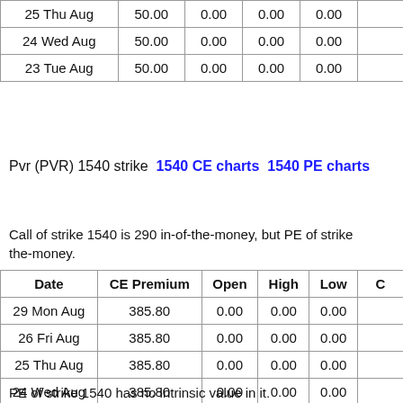| Date | CE Premium | Open | High | Low | C |
| --- | --- | --- | --- | --- | --- |
| 25 Thu Aug | 50.00 | 0.00 | 0.00 | 0.00 |  |
| 24 Wed Aug | 50.00 | 0.00 | 0.00 | 0.00 |  |
| 23 Tue Aug | 50.00 | 0.00 | 0.00 | 0.00 |  |
Pvr (PVR) 1540 strike  1540 CE charts  1540 PE charts
Call of strike 1540 is 290 in-of-the-money, but PE of strike is out-of-the-money.
CE of strike 1540 has 290 intrinsic value in it.
| Date | CE Premium | Open | High | Low | C |
| --- | --- | --- | --- | --- | --- |
| 29 Mon Aug | 385.80 | 0.00 | 0.00 | 0.00 |  |
| 26 Fri Aug | 385.80 | 0.00 | 0.00 | 0.00 |  |
| 25 Thu Aug | 385.80 | 0.00 | 0.00 | 0.00 |  |
| 24 Wed Aug | 385.80 | 0.00 | 0.00 | 0.00 |  |
| 23 Tue Aug | 385.80 | 0.00 | 0.00 | 0.00 |  |
PE of strike 1540 has no intrinsic value in it.